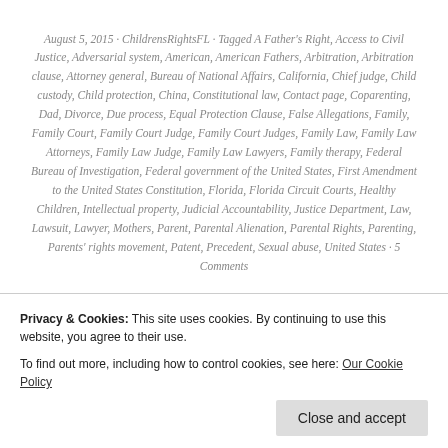August 5, 2015 · ChildrensRightsFL · Tagged A Father's Right, Access to Civil Justice, Adversarial system, American, American Fathers, Arbitration, Arbitration clause, Attorney general, Bureau of National Affairs, California, Chief judge, Child custody, Child protection, China, Constitutional law, Contact page, Coparenting, Dad, Divorce, Due process, Equal Protection Clause, False Allegations, Family, Family Court, Family Court Judge, Family Court Judges, Family Law, Family Law Attorneys, Family Law Judge, Family Law Lawyers, Family therapy, Federal Bureau of Investigation, Federal government of the United States, First Amendment to the United States Constitution, Florida, Florida Circuit Courts, Healthy Children, Intellectual property, Judicial Accountability, Justice Department, Law, Lawsuit, Lawyer, Mothers, Parent, Parental Alienation, Parental Rights, Parenting, Parents' rights movement, Patent, Precedent, Sexual abuse, United States · 5 Comments
[Figure (other): An upward-pointing triangle/arrow icon with a plus sign, suggesting a scroll-to-top or expand button]
Privacy & Cookies: This site uses cookies. By continuing to use this website, you agree to their use. To find out more, including how to control cookies, see here: Our Cookie Policy